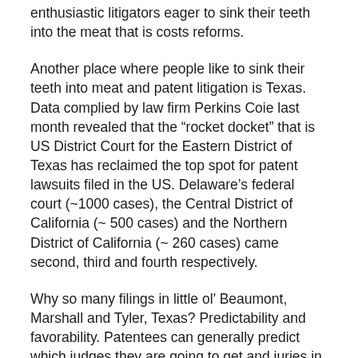enthusiastic litigators eager to sink their teeth into the meat that is costs reforms.
Another place where people like to sink their teeth into meat and patent litigation is Texas. Data complied by law firm Perkins Coie last month revealed that the "rocket docket" that is US District Court for the Eastern District of Texas has reclaimed the top spot for patent lawsuits filed in the US. Delaware's federal court (~1000 cases), the Central District of California (~ 500 cases) and the Northern District of California (~ 260 cases) came second, third and fourth respectively.
Why so many filings in little ol' Beaumont, Marshall and Tyler, Texas? Predictability and favorability. Patentees can generally predict which judges they are going to get and juries in the district are considered to be patentee-friendly. Credited with making the district the top choice of patentees, Judge T. John Ward (no relation) retired in 2011 and was replaced by Judge Rodney Gilstrap. The change in regime could have altered the Eastern